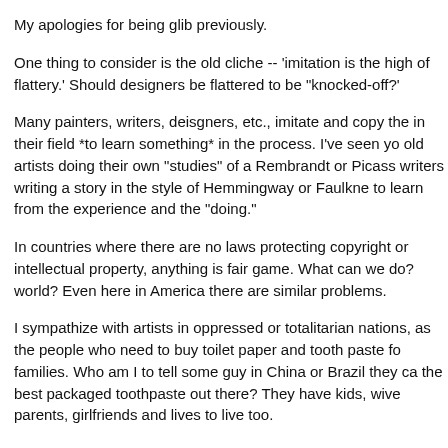My apologies for being glib previously.
One thing to consider is the old cliche -- 'imitation is the high of flattery.' Should designers be flattered to be "knocked-off?'
Many painters, writers, deisgners, etc., imitate and copy the in their field *to learn something* in the process. I've seen yo old artists doing their own "studies" of a Rembrandt or Picass writers writing a story in the style of Hemmingway or Faulkne to learn from the experience and the "doing."
In countries where there are no laws protecting copyright or intellectual property, anything is fair game. What can we do? world? Even here in America there are similar problems.
I sympathize with artists in oppressed or totalitarian nations, as the people who need to buy toilet paper and tooth paste fo families. Who am I to tell some guy in China or Brazil they ca the best packaged toothpaste out there? They have kids, wive parents, girlfriends and lives to live too.